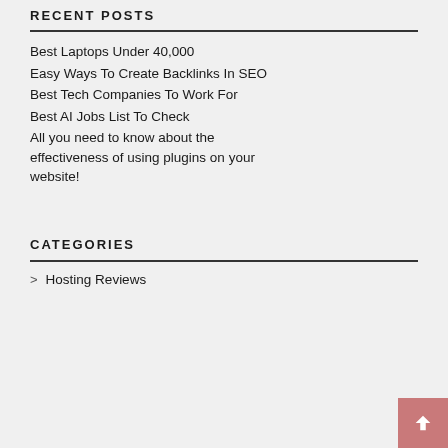RECENT POSTS
Best Laptops Under 40,000
Easy Ways To Create Backlinks In SEO
Best Tech Companies To Work For
Best AI Jobs List To Check
All you need to know about the effectiveness of using plugins on your website!
CATEGORIES
Hosting Reviews